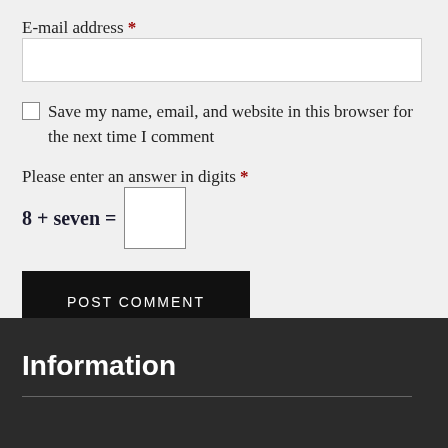E-mail address *
Save my name, email, and website in this browser for the next time I comment
Please enter an answer in digits *
POST COMMENT
Information